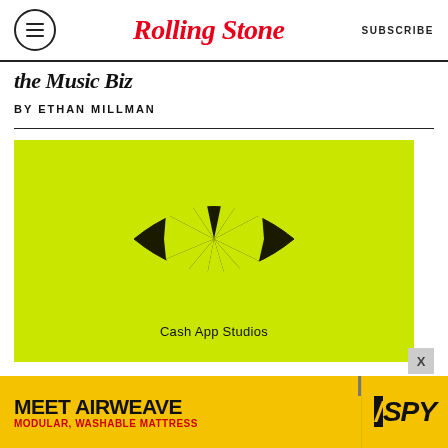RollingStone | SUBSCRIBE
the Music Biz
BY ETHAN MILLMAN
[Figure (logo): Cash App Studios logo — black eye-shaped emblem with radiating sunburst spokes pattern on bright yellow-green background, with text 'Cash App Studios' below the logo]
MEET AIRWEAVE MODULAR, WASHABLE MATTRESS